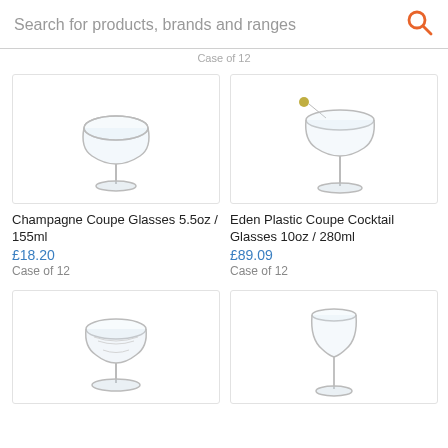Search for products, brands and ranges
Case of 12
[Figure (photo): Champagne Coupe Glass 5.5oz/155ml product photo]
Champagne Coupe Glasses 5.5oz / 155ml
£18.20
Case of 12
[Figure (photo): Eden Plastic Coupe Cocktail Glass 10oz/280ml product photo with olive garnish]
Eden Plastic Coupe Cocktail Glasses 10oz / 280ml
£89.09
Case of 12
[Figure (photo): Decorative coupe glass with etched pattern product photo]
[Figure (photo): Tall stemmed wine/cocktail glass product photo]